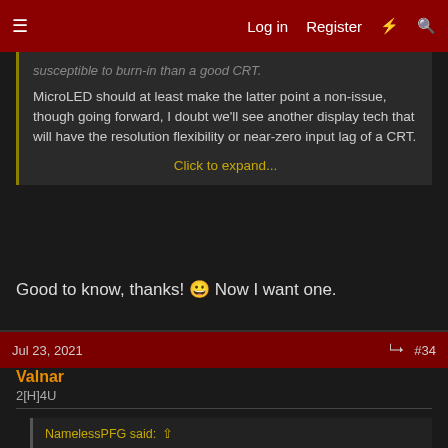≡  Log in  Register  ⚡  🔍
susceptible to burn-in than a good CRT.
MicroLED should at least make the latter point a non-issue, though going forward, I doubt we'll see another display tech that will have the resolution flexibility or near-zero input lag of a CRT.
Click to expand...
Good to know, thanks! 🙂 Now I want one.
Jul 23, 2021  #34
Valnar
2[H]4U
NamelessPFG said: ↑
I doubt we'll see another display tech that will have the resolution flexibility or near-zero input lag of a CRT.
I'm surprised this wasn't mentioned in the first post. Yeah, not